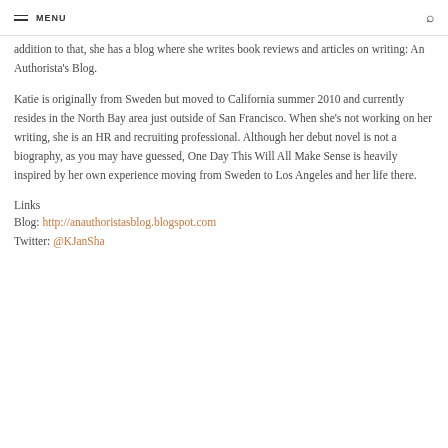MENU
addition to that, she has a blog where she writes book reviews and articles on writing: An Authorista's Blog.
Katie is originally from Sweden but moved to California summer 2010 and currently resides in the North Bay area just outside of San Francisco. When she's not working on her writing, she is an HR and recruiting professional. Although her debut novel is not a biography, as you may have guessed, One Day This Will All Make Sense is heavily inspired by her own experience moving from Sweden to Los Angeles and her life there.
Links
Blog: http://anauthoristasblog.blogspot.com
Twitter: @KJanSha